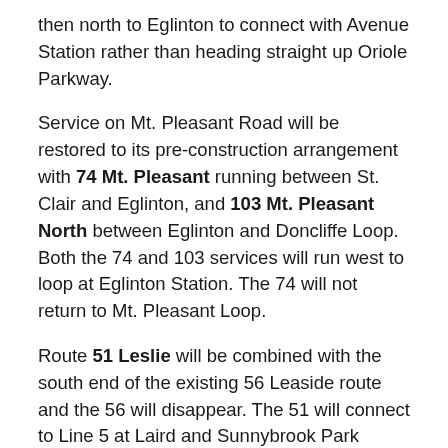then north to Eglinton to connect with Avenue Station rather than heading straight up Oriole Parkway.
Service on Mt. Pleasant Road will be restored to its pre-construction arrangement with 74 Mt. Pleasant running between St. Clair and Eglinton, and 103 Mt. Pleasant North between Eglinton and Doncliffe Loop. Both the 74 and 103 services will run west to loop at Eglinton Station. The 74 will not return to Mt. Pleasant Loop.
Route 51 Leslie will be combined with the south end of the existing 56 Leaside route and the 56 will disappear. The 51 will connect to Line 5 at Laird and Sunnybrook Park Stations, and will operate south to Donlands Station as the 56 does today. The 54 Lawrence East bus will no longer serve Leslie Street. Service to Brentcliffe now provided by the 56B will be taken over by an extended 88